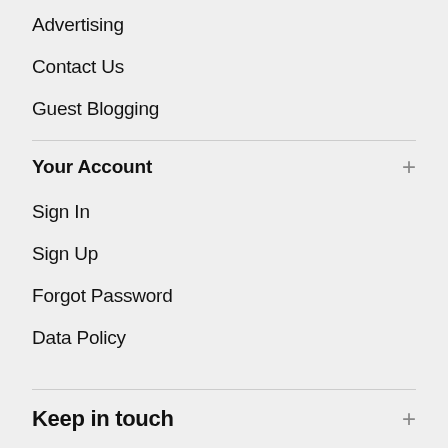Advertising
Contact Us
Guest Blogging
Your Account
Sign In
Sign Up
Forgot Password
Data Policy
Keep in touch
Signup for our weekly newsletter to get the latest news, updates and stay in the loop to find out what